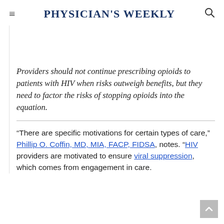Physician's Weekly
Providers should not continue prescribing opioids to patients with HIV when risks outweigh benefits, but they need to factor the risks of stopping opioids into the equation.
“There are specific motivations for certain types of care,” Phillip O. Coffin, MD, MIA, FACP, FIDSA, notes. “HIV providers are motivated to ensure viral suppression, which comes from engagement in care.